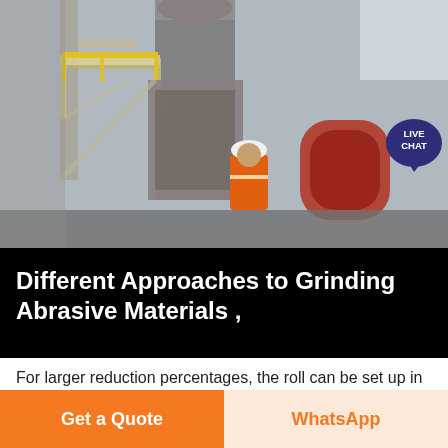[Figure (photo): Industrial grinding mill facility interior with large machinery, metal walkways and stairs. A worker in an orange high-visibility vest and white hard hat stands in front of the equipment.]
Different Approaches to Grinding Abrasive Materials ,
For larger reduction percentages, the roll can be set up in a series from wider gapped rolls to progressively smaller roll sets This gives a very nice reduction in size, without contamination and minimal fines creation The drawback to roll crushing is the cost of the parts and the time needed to
Get a Quote
WhatsApp